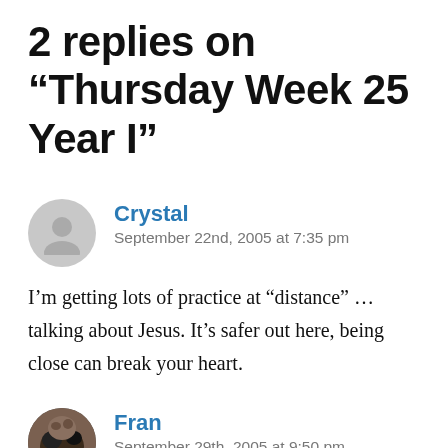2 replies on “Thursday Week 25 Year I”
Crystal
September 22nd, 2005 at 7:35 pm
I’m getting lots of practice at “distance” … talking about Jesus. It’s safer out here, being close can break your heart.
Fran
September 29th, 2005 at 9:50 pm
Ah, the personalization of the Christ within. It’s